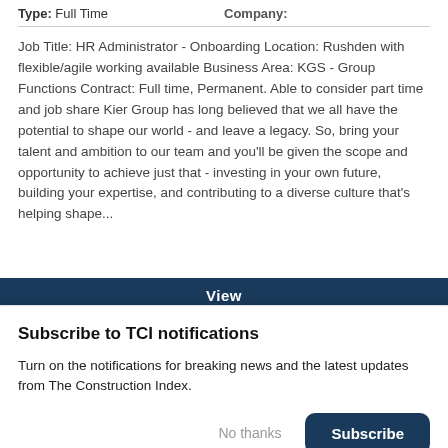Type: Full Time    Company:
Job Title: HR Administrator - Onboarding Location: Rushden with flexible/agile working available Business Area: KGS - Group Functions Contract: Full time, Permanent. Able to consider part time and job share Kier Group has long believed that we all have the potential to shape our world - and leave a legacy. So, bring your talent and ambition to our team and you'll be given the scope and opportunity to achieve just that - investing in your own future, building your expertise, and contributing to a diverse culture that's helping shape...
View
Subscribe to TCI notifications
Turn on the notifications for breaking news and the latest updates from The Construction Index.
No thanks
Subscribe